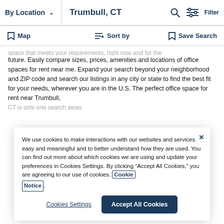By Location  ∨   Trumbull, CT   🔍  Filter
Map   Sort by   Save Search
space that meets your requirements, right now and for the future. Easily compare sizes, prices, amenities and locations of office spaces for rent near me. Expand your search beyond your neighborhood and ZIP code and search our listings in any city or state to find the best fit for your needs, wherever you are in the U.S. The perfect office space for rent near Trumbull, CT is only one search away.
We use cookies to make interactions with our websites and services easy and meaningful and to better understand how they are used. You can find out more about which cookies we are using and update your preferences in Cookies Settings. By clicking "Accept All Cookies," you are agreeing to our use of cookies. Cookie Notice.
Cookies Settings   Accept All Cookies